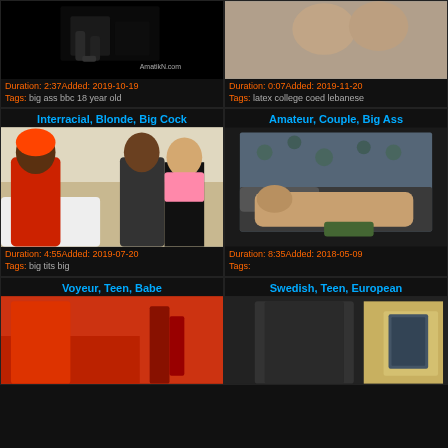[Figure (photo): Video thumbnail - dark background with legs in stockings]
Duration: 2:37Added: 2019-10-19
Tags: big ass bbc 18 year old
[Figure (photo): Video thumbnail - close up]
Duration: 0:07Added: 2019-11-20
Tags: latex college coed lebanese
Interracial, Blonde, Big Cock
[Figure (photo): Video thumbnail - man in red shirt with bicycle helmet, blonde woman in pink top]
Duration: 4:55Added: 2019-07-20
Tags: big tits big
Amateur, Couple, Big Ass
[Figure (photo): Video thumbnail - couple on bed with floral background]
Duration: 8:35Added: 2018-05-09
Tags:
Voyeur, Teen, Babe
[Figure (photo): Video thumbnail - partial view]
Swedish, Teen, European
[Figure (photo): Video thumbnail - partial view]